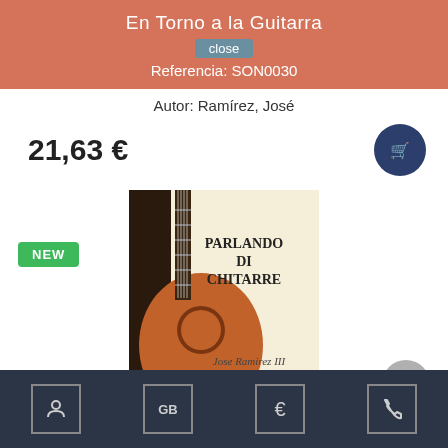En Torno a la Guitarra
close
Referencia: SON0030
Autor: Ramírez, José
21,63 €
[Figure (other): Shopping cart button icon, dark navy circle]
NEW
[Figure (photo): Book cover for 'Parlando Di Chitarre' by Jose Ramirez III, showing a classical guitar on a cream/beige background]
[Figure (other): Scroll-up arrow button, grey circle]
Footer navigation bar with user icon, GB flag text, euro sign, and phone icon